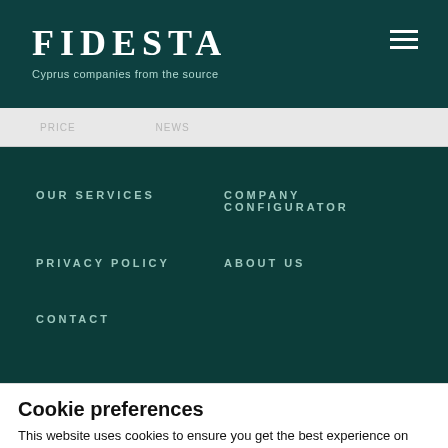FIDESTA — Cyprus companies from the source
OUR SERVICES
COMPANY CONFIGURATOR
PRIVACY POLICY
ABOUT US
CONTACT
Cookie preferences
This website uses cookies to ensure you get the best experience on our website. For more information please read our Privacy Policy.
Deny | Allow selection | Allow all
Necessary | Preferences | Statistics | Marketing | Show details